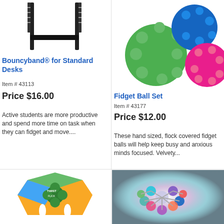[Figure (photo): Bouncyband product image showing black band attached to desk legs]
Bouncyband® for Standard Desks
Item # 43113
Price $16.00
Active students are more productive and spend more time on task when they can fidget and move....
[Figure (photo): Fidget Ball Set showing green, blue, and pink textured rubber balls]
Fidget Ball Set
Item # 43177
Price $12.00
These hand sized, flock covered fidget balls will help keep busy and anxious minds focused. Velvety...
[Figure (photo): Colorful geometric fidget toy box with clover shape, yellow and green panels]
[Figure (photo): Glowing colorful fidget toy with balls connected in cluster, multi-colored translucent]